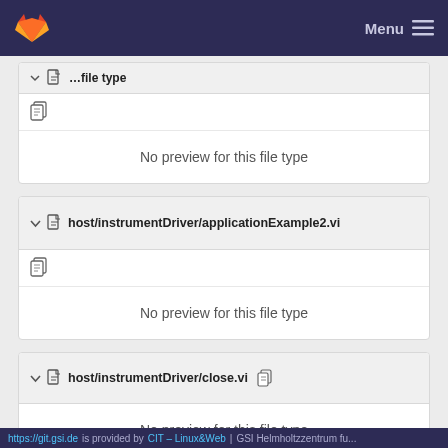GitLab — Menu
[Figure (screenshot): Partially visible file card header (cut off at top) with clipboard copy icon below, and 'No preview for this file type' content area]
No preview for this file type
host/instrumentDriver/applicationExample2.vi
No preview for this file type
host/instrumentDriver/close.vi
No preview for this file type
host/instrumentDriver/errorQuery.vi
https://git.gsi.de is provided by CIT – Linux&Web | GSI Helmholtzzentrum fu...